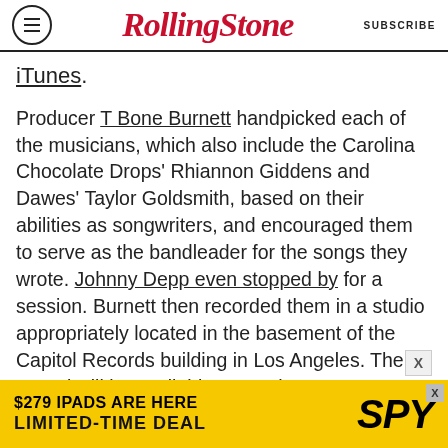RollingStone — SUBSCRIBE
iTunes.
Producer T Bone Burnett handpicked each of the musicians, which also include the Carolina Chocolate Drops' Rhiannon Giddens and Dawes' Taylor Goldsmith, based on their abilities as songwriters, and encouraged them to serve as the bandleader for the songs they wrote. Johnny Depp even stopped by for a session. Burnett then recorded them in a studio appropriately located in the basement of the Capitol Records building in Los Angeles. The record will be available to purchase on November 10th.
"What transpired during these two weeks was
[Figure (other): Advertisement banner: $279 IPADS ARE HERE LIMITED-TIME DEAL — SPY logo on yellow background]